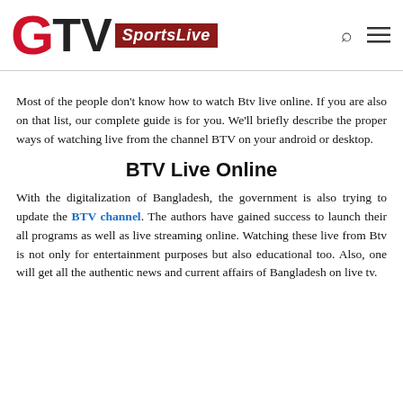GTV SportsLive
Most of the people don't know how to watch Btv live online. If you are also on that list, our complete guide is for you. We'll briefly describe the proper ways of watching live from the channel BTV on your android or desktop.
BTV Live Online
With the digitalization of Bangladesh, the government is also trying to update the BTV channel. The authors have gained success to launch their all programs as well as live streaming online. Watching these live from Btv is not only for entertainment purposes but also educational too. Also, one will get all the authentic news and current affairs of Bangladesh on live tv.